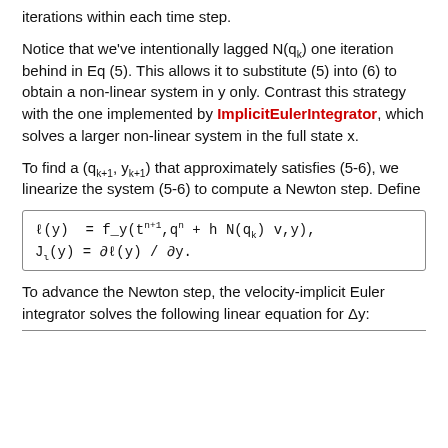iterations within each time step.
Notice that we've intentionally lagged N(qk) one iteration behind in Eq (5). This allows it to substitute (5) into (6) to obtain a non-linear system in y only. Contrast this strategy with the one implemented by ImplicitEulerIntegrator, which solves a larger non-linear system in the full state x.
To find a (qk+1, yk+1) that approximately satisfies (5-6), we linearize the system (5-6) to compute a Newton step. Define
To advance the Newton step, the velocity-implicit Euler integrator solves the following linear equation for Δy: